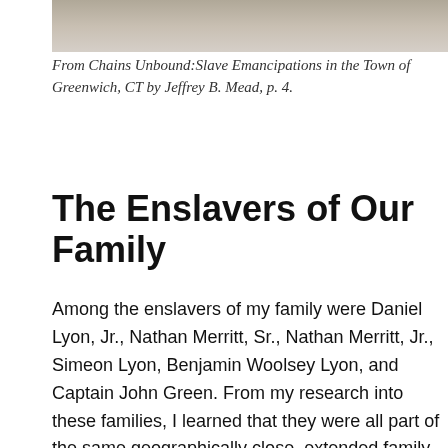[Figure (photo): Partial photograph strip at top of page, muted brown/beige tones]
From Chains Unbound:Slave Emancipations in the Town of Greenwich, CT by Jeffrey B. Mead, p. 4.
The Enslavers of Our Family
Among the enslavers of my family were Daniel Lyon, Jr., Nathan Merritt, Sr., Nathan Merritt, Jr., Simeon Lyon, Benjamin Woolsey Lyon, and Captain John Green. From my research into these families, I learned that they were all part of the same geographically close, extended family. For example, Nathan Merritt, Sr. and the mother of Captain John Green, Mary Merritt Green, were siblings. This would make Nathan Merritt Jr. and John Green first cousins. Benjamin Woolsey Lyon's wife was Phebe Merritt Lyon. Daniel Lyon, Jr., Simeon Lyon, and Benjamin Woolsey Lyon